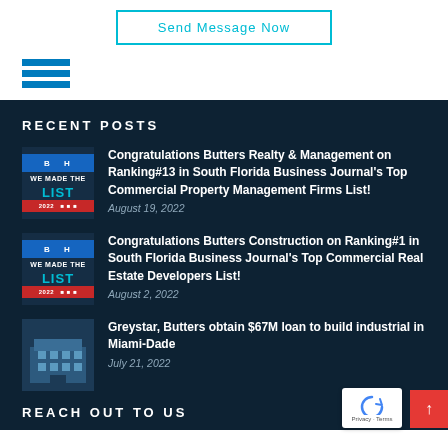Send Message Now
[Figure (logo): Blue horizontal lines icon / hamburger menu icon]
RECENT POSTS
[Figure (illustration): Award badge - WE MADE THE LIST 2022]
Congratulations Butters Realty & Management on Ranking#13 in South Florida Business Journal's Top Commercial Property Management Firms List!
August 19, 2022
[Figure (illustration): Award badge - WE MADE THE LIST 2022]
Congratulations Butters Construction on Ranking#1 in South Florida Business Journal's Top Commercial Real Estate Developers List!
August 2, 2022
[Figure (photo): Industrial building exterior photo]
Greystar, Butters obtain $67M loan to build industrial in Miami-Dade
July 21, 2022
REACH OUT TO US